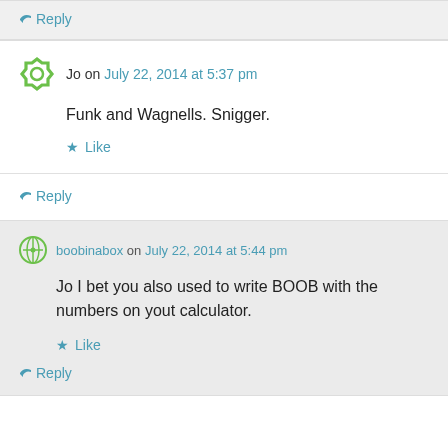↳ Reply
Jo on July 22, 2014 at 5:37 pm
Funk and Wagnells. Snigger.
★ Like
↳ Reply
boobinabox on July 22, 2014 at 5:44 pm
Jo I bet you also used to write BOOB with the numbers on yout calculator.
★ Like
↳ Reply